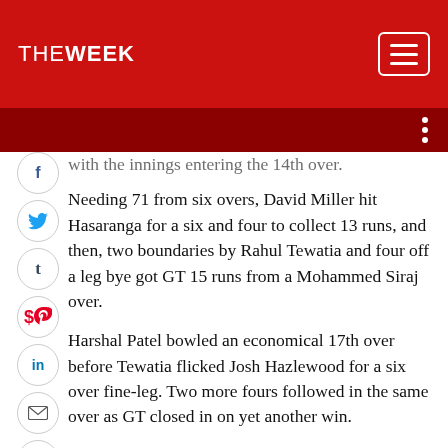THE WEEK
with the innings entering the 14th over.
Needing 71 from six overs, David Miller hit Hasaranga for a six and four to collect 13 runs, and then, two boundaries by Rahul Tewatia and four off a leg bye got GT 15 runs from a Mohammed Siraj over.
Harshal Patel bowled an economical 17th over before Tewatia flicked Josh Hazlewood for a six over fine-leg. Two more fours followed in the same over as GT closed in on yet another win.
Earlier, Mohammed Shami pulled out twice in his run up, the false starts leaving the umpire annoyed, before the seasoned